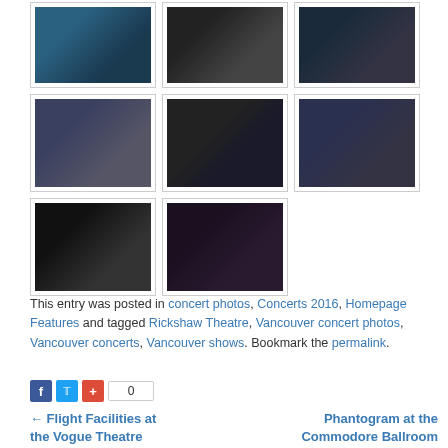[Figure (photo): Concert photo gallery with 8 thumbnail images of live music performances, arranged in a 3-column grid. Row 1: 3 photos. Row 2: 3 photos. Row 3: 2 photos.]
This entry was posted in concert photos, Concerts 2016, Homepage Features and tagged Rickshaw Theatre, Vancouver concert photos, Vancouver concerts, Vancouver shows. Bookmark the permalink.
0
← Flight Facilities at the Vogue Theatre
Phantogram at the Commodore Ballroom